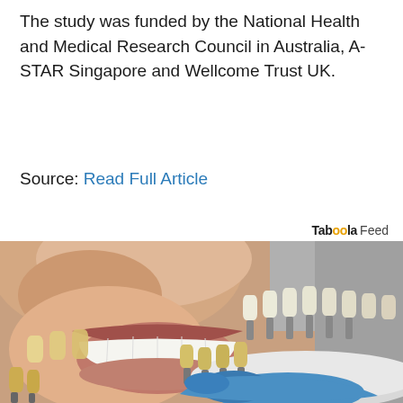The study was funded by the National Health and Medical Research Council in Australia, A-STAR Singapore and Wellcome Trust UK.
Source: Read Full Article
Taboola Feed
[Figure (photo): Close-up photo of a person smiling showing white teeth, with a dental tooth shade guide held up next to their teeth by a gloved hand in a blue glove.]